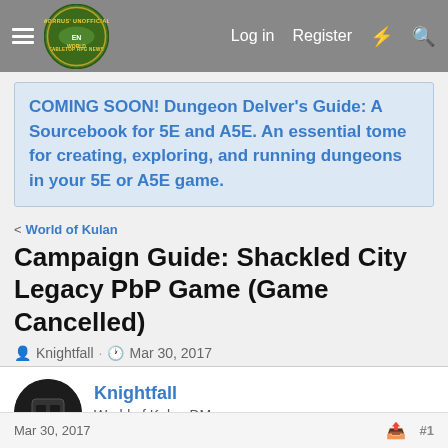Morrus' Unofficial Tabletop RPG News — Log in  Register
COMING SOON! Dungeon Delver's Guide: A Sourcebook for 5E and A5E. An essential tome for creating, exploring, and running dungeons in your 5E or A5E game.
< World of Kulan
Campaign Guide: Shackled City Legacy PbP Game (Game Cancelled)
Knightfall · Mar 30, 2017
Knightfall
World of Kulan DM
Mar 30, 2017  #1